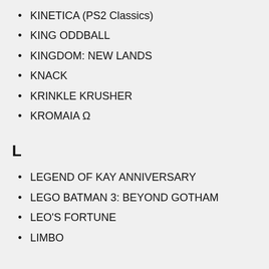KINETICA (PS2 Classics)
KING ODDBALL
KINGDOM: NEW LANDS
KNACK
KRINKLE KRUSHER
KROMAIA Ω
L
LEGEND OF KAY ANNIVERSARY
LEGO BATMAN 3: BEYOND GOTHAM
LEO'S FORTUNE
LIMBO